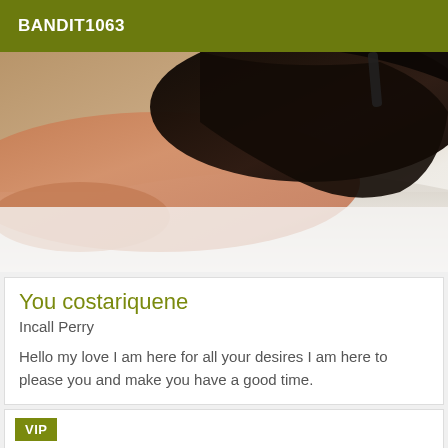BANDIT1063
[Figure (photo): A woman with long dark hair lying on a white bed, photographed from above and behind, showing bare skin and dark hair spread across white sheets.]
You costariquene
Incall Perry
Hello my love I am here for all your desires I am here to please you and make you have a good time.
VIP